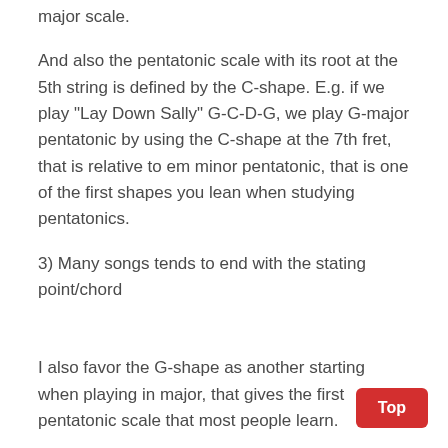major scale.
And also the pentatonic scale with its root at the 5th string is defined by the C-shape. E.g. if we play "Lay Down Sally" G-C-D-G, we play G-major pentatonic by using the C-shape at the 7th fret, that is relative to em minor pentatonic, that is one of the first shapes you lean when studying pentatonics.
3) Many songs tends to end with the stating point/chord
I also favor the G-shape as another starting when playing in major, that gives the first pentatonic scale that most people learn.